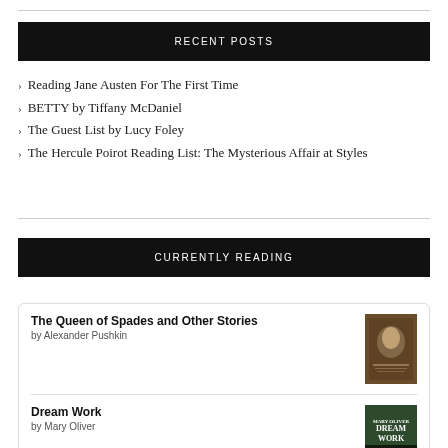RECENT POSTS
Reading Jane Austen For The First Time
BETTY by Tiffany McDaniel
The Guest List by Lucy Foley
The Hercule Poirot Reading List: The Mysterious Affair at Styles
CURRENTLY READING
The Queen of Spades and Other Stories
by Alexander Pushkin
Dream Work
by Mary Oliver